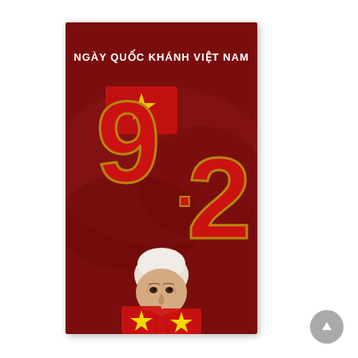[Figure (illustration): Vietnamese National Day (Ngày Quốc Khánh Việt Nam) poster with large '9.2' text in red and gold with Vietnamese flag motif, and a cartoon illustration of an elderly man (Ho Chi Minh style) at the bottom, on a dark red brushstroke background. A gray circular scroll-to-top button appears in the bottom right corner of the page.]